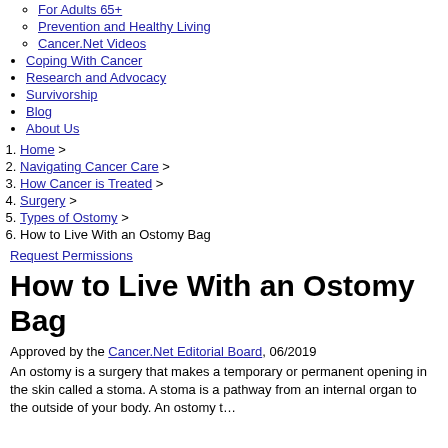For Adults 65+
Prevention and Healthy Living
Cancer.Net Videos
Coping With Cancer
Research and Advocacy
Survivorship
Blog
About Us
Home >
Navigating Cancer Care >
How Cancer is Treated >
Surgery >
Types of Ostomy >
How to Live With an Ostomy Bag
Request Permissions
How to Live With an Ostomy Bag
Approved by the Cancer.Net Editorial Board, 06/2019
An ostomy is a surgery that makes a temporary or permanent opening in the skin called a stoma. A stoma is a pathway from an internal organ to the outside of your body. An ostomy...